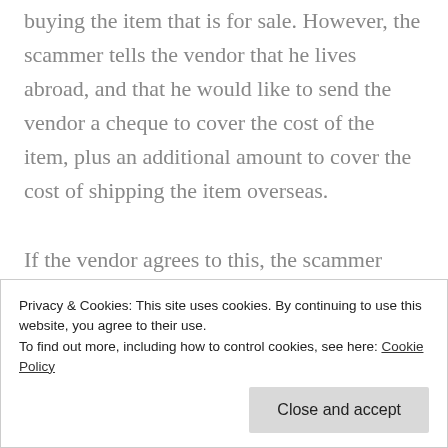buying the item that is for sale. However, the scammer tells the vendor that he lives abroad, and that he would like to send the vendor a cheque to cover the cost of the item, plus an additional amount to cover the cost of shipping the item overseas.

If the vendor agrees to this, the scammer sends them a cheque or a banker's draft for the total amount. The vendor pays the
Privacy & Cookies: This site uses cookies. By continuing to use this website, you agree to their use.
To find out more, including how to control cookies, see here: Cookie Policy
Close and accept